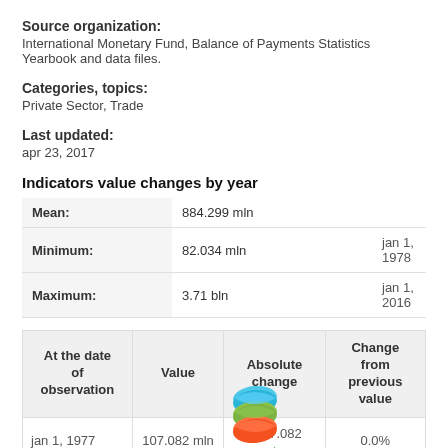Source organization:
International Monetary Fund, Balance of Payments Statistics Yearbook and data files.
Categories, topics:
Private Sector, Trade
Last updated:
apr 23, 2017
Indicators value changes by year
|  | Value | Date |
| --- | --- | --- |
| Mean: | 884.299 mln |  |
| Minimum: | 82.034 mln | jan 1, 1978 |
| Maximum: | 3.71 bln | jan 1, 2016 |
| At the date of observation | Value | Absolute change | Change from previous value |
| --- | --- | --- | --- |
| jan 1, 1977 | 107.082 mln | +107.082 | 0.0% |
[Figure (logo): Stacked layered logo with blue, green, and orange diamond/rhombus shapes]